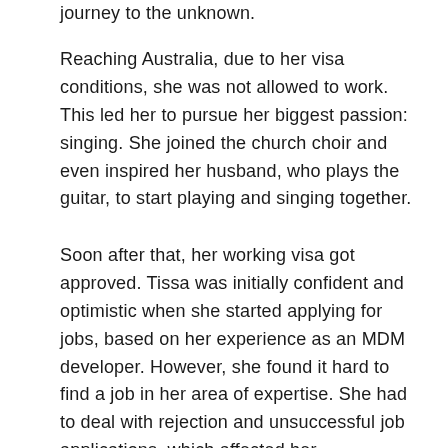journey to the unknown.
Reaching Australia, due to her visa conditions, she was not allowed to work. This led her to pursue her biggest passion: singing. She joined the church choir and even inspired her husband, who plays the guitar, to start playing and singing together.
Soon after that, her working visa got approved. Tissa was initially confident and optimistic when she started applying for jobs, based on her experience as an MDM developer. However, she found it hard to find a job in her area of expertise. She had to deal with rejection and unsuccessful job applications, which affected her emotionally. Trying to overcome the frustration and demotivation, Tissa worked hard